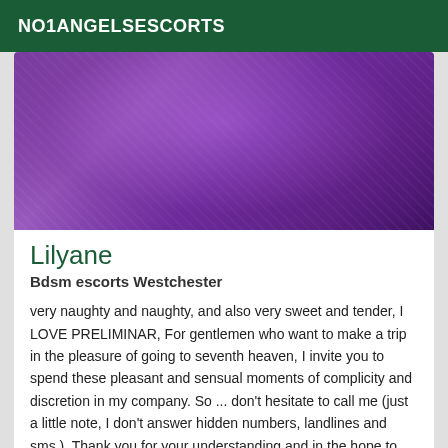NO1ANGELSESCORTS
[Figure (photo): Close-up photo of a person wearing purple lace lingerie, dark hair visible on the right side.]
Lilyane
Bdsm escorts Westchester
very naughty and naughty, and also very sweet and tender, I LOVE PRELIMINAR, For gentlemen who want to make a trip in the pleasure of going to seventh heaven, I invite you to spend these pleasant and sensual moments of complicity and discretion in my company. So ... don't hesitate to call me (just a little note, I don't answer hidden numbers, landlines and sms.). Thank you for your understanding and in the hope to receive you.